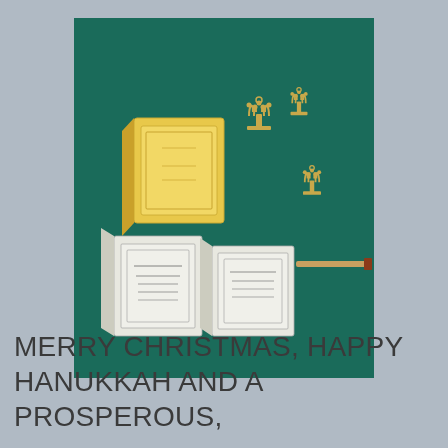[Figure (photo): Overhead photo on a dark teal/green background showing miniature Hanukkah-related items: a yellow matchbox-sized book, two white books with Hebrew text covers, three small golden menorah charms, and a single wooden matchstick.]
MERRY CHRISTMAS, HAPPY HANUKKAH AND A PROSPEROUS,